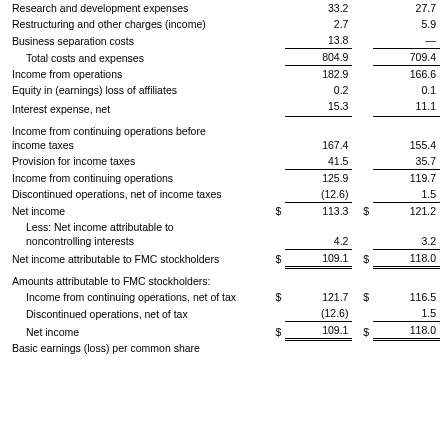|  |  | Col1 |  | Col2 |
| --- | --- | --- | --- | --- |
| Research and development expenses |  | 33.2 |  | 27.7 |
| Restructuring and other charges (income) |  | 2.7 |  | 5.9 |
| Business separation costs |  | 13.8 |  | — |
| Total costs and expenses |  | 804.9 |  | 709.4 |
| Income from operations |  | 182.9 |  | 166.6 |
| Equity in (earnings) loss of affiliates |  | 0.2 |  | 0.1 |
| Interest expense, net |  | 15.3 |  | 11.1 |
| Income from continuing operations before income taxes |  | 167.4 |  | 155.4 |
| Provision for income taxes |  | 41.5 |  | 35.7 |
| Income from continuing operations |  | 125.9 |  | 119.7 |
| Discontinued operations, net of income taxes |  | (12.6) |  | 1.5 |
| Net income | $ | 113.3 | $ | 121.2 |
| Less: Net income attributable to noncontrolling interests |  | 4.2 |  | 3.2 |
| Net income attributable to FMC stockholders | $ | 109.1 | $ | 118.0 |
| Amounts attributable to FMC stockholders: |  |  |  |  |
| Income from continuing operations, net of tax | $ | 121.7 | $ | 116.5 |
| Discontinued operations, net of tax |  | (12.6) |  | 1.5 |
| Net income | $ | 109.1 | $ | 118.0 |
| Basic earnings (loss) per common share |  |  |  |  |